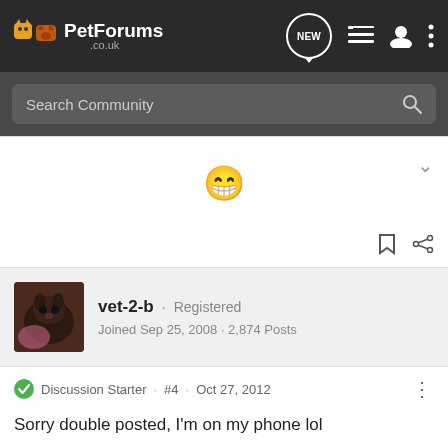PetForums .co.uk — navigation bar with NEW, list, user, and menu icons
Search Community
[Figure (other): A grinning face emoji (😁) centered in the post area, with a chevron down arrow on the right and bookmark/share icons at the bottom right]
vet-2-b · Registered
Joined Sep 25, 2008 · 2,874 Posts
Discussion Starter · #4 · Oct 27, 2012
Sorry double posted, I'm on my phone lol